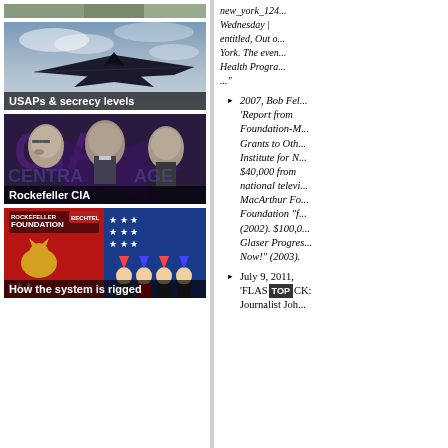[Figure (photo): Top strip image, partially visible military aircraft or similar]
[Figure (photo): Black stealth military aircraft (F-117 or similar) against cloudy sky, labeled 'USAPs & secrecy levels']
[Figure (photo): Black and white photo of three men (Rockefeller, CIA related figures) with purple CIA eagle logo in background, labeled 'Rockefeller CIA']
[Figure (illustration): Colorful political collage with Rockefeller Foundation and Bechtel logos, American flags, caricatures of politicians, labeled 'How the system is rigged']
new_york_124... Wednesday | entitled, Out of York. The even Health Progra... ..."
2007, Bob Feb 'Report from Foundation-M Grants to Oth Institute for $40,000 from national telev MacArthur Fo Foundation "f (2002). $100, Glaser Progres Now!" (2003).
July 9, 2011, 'FLASHTOPCK: Journalist Joh